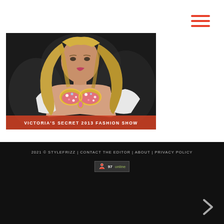[Figure (other): Hamburger menu icon with three red horizontal bars, top-right corner]
[Figure (photo): Fashion show photo of a blonde model wearing a jeweled Victoria's Secret bra with pink crystals and gold accents, white opera gloves, on a dark runway. Overlay text at bottom reads: VICTORIA'S SECRET 2013 FASHION SHOW]
VICTORIA'S SECRET 2013 FASHION SHOW
2021 © STYLEFRIZZ | CONTACT THE EDITOR | ABOUT | PRIVACY POLICY
[Figure (other): Online counter widget showing 97 online with a small figure icon, on dark background]
[Figure (other): Grey right-arrow chevron navigation button, bottom right of black footer]